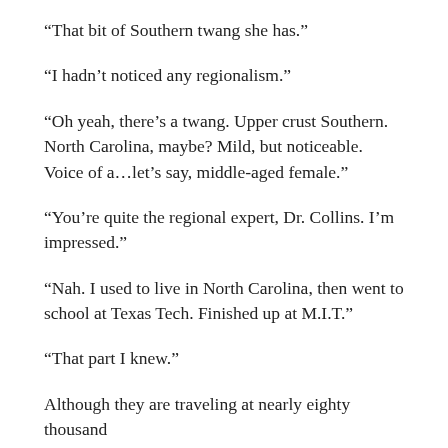“That bit of Southern twang she has.”
“I hadn’t noticed any regionalism.”
“Oh yeah, there’s a twang. Upper crust Southern. North Carolina, maybe? Mild, but noticeable. Voice of a…let’s say, middle-aged female.”
“You’re quite the regional expert, Dr. Collins. I’m impressed.”
“Nah. I used to live in North Carolina, then went to school at Texas Tech. Finished up at M.I.T.”
“That part I knew.”
Although they are traveling at nearly eighty thousand